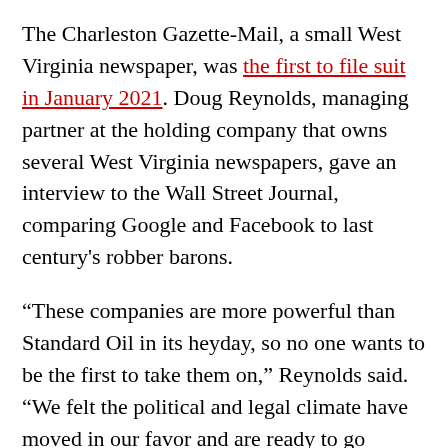The Charleston Gazette-Mail, a small West Virginia newspaper, was the first to file suit in January 2021. Doug Reynolds, managing partner at the holding company that owns several West Virginia newspapers, gave an interview to the Wall Street Journal, comparing Google and Facebook to last century's robber barons.
“These companies are more powerful than Standard Oil in its heyday, so no one wants to be the first to take them on,” Reynolds said. “We felt the political and legal climate have moved in our favor and are ready to go ahead.”
In May, the News Media Alliance successfully filed